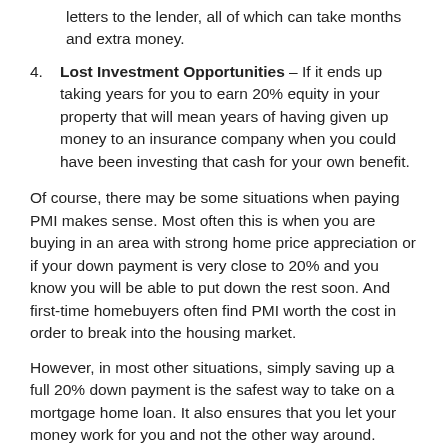letters to the lender, all of which can take months and extra money.
Lost Investment Opportunities – If it ends up taking years for you to earn 20% equity in your property that will mean years of having given up money to an insurance company when you could have been investing that cash for your own benefit.
Of course, there may be some situations when paying PMI makes sense. Most often this is when you are buying in an area with strong home price appreciation or if your down payment is very close to 20% and you know you will be able to put down the rest soon. And first-time homebuyers often find PMI worth the cost in order to break into the housing market.
However, in most other situations, simply saving up a full 20% down payment is the safest way to take on a mortgage home loan. It also ensures that you let your money work for you and not the other way around.